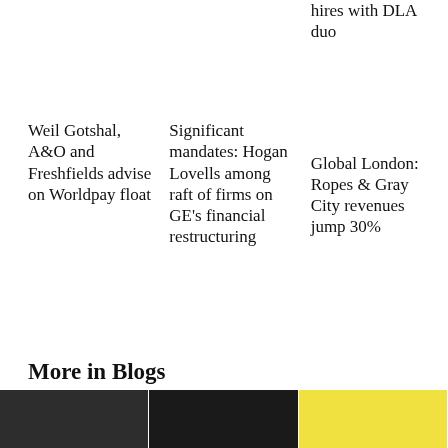hires with DLA duo
Weil Gotshal, A&O and Freshfields advise on Worldpay float
Significant mandates: Hogan Lovells among raft of firms on GE's financial restructuring
Global London: Ropes & Gray City revenues jump 30%
More in Blogs
[Figure (photo): Three thumbnail photos of people/scenes for blog section]